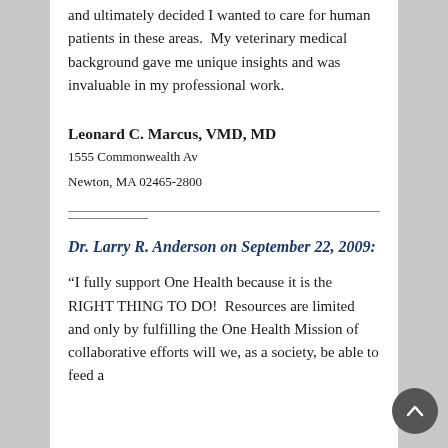and ultimately decided I wanted to care for human patients in these areas.  My veterinary medical background gave me unique insights and was invaluable in my professional work.
Leonard C. Marcus, VMD, MD
1555 Commonwealth Av
Newton, MA 02465-2800
Dr. Larry R. Anderson on September 22, 2009:
“I fully support One Health because it is the RIGHT THING TO DO!  Resources are limited and only by fulfilling the One Health Mission of collaborative efforts will we, as a society, be able to feed a